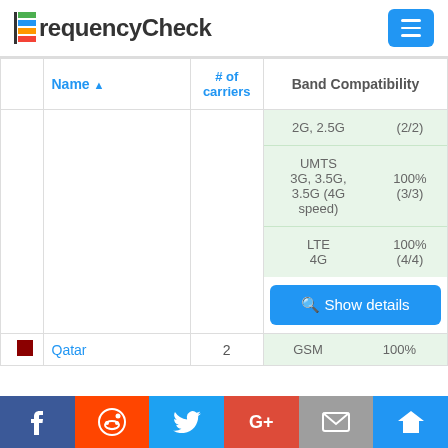FrequencyCheck
|  | Name ▲ | # of carriers | Band Compatibility |
| --- | --- | --- | --- |
|  |  |  | 2G, 2.5G | (2/2) |
|  |  |  | UMTS 3G, 3.5G, 3.5G (4G speed) | 100% (3/3) |
|  |  |  | LTE 4G | 100% (4/4) |
|  |  |  | Show details |
| 🇶🇦 | Qatar | 2 | GSM | 100% |